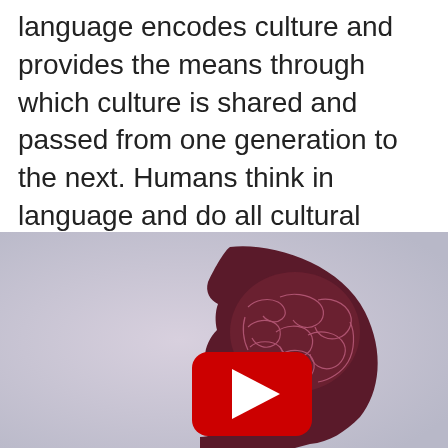language encodes culture and provides the means through which culture is shared and passed from one generation to the next. Humans think in language and do all cultural activities using language. … All human languages are symbolic systems that make use of symbols to convey meaning.
[Figure (illustration): A dark red silhouette of a human head in profile facing right, with a detailed pink brain illustration visible inside the skull area. A YouTube play button (red rounded rectangle with white triangle) is centered over the brain area, indicating an embedded video thumbnail. The background is a soft grey-lavender gradient.]